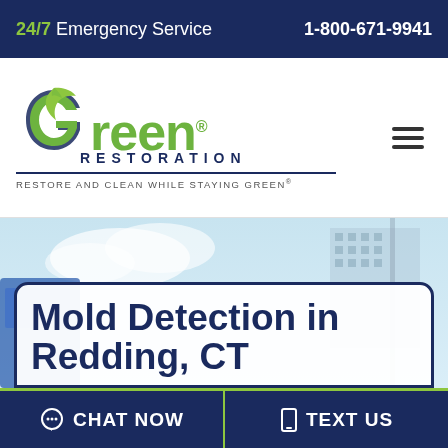24/7 Emergency Service  1-800-671-9941
[Figure (logo): Green Restoration logo with green leaf letter G, text 'Green RESTORATION' and tagline 'Restore and Clean While Staying Green']
[Figure (photo): Hero background image showing a blue sky and building exterior, with a white rounded box overlay containing the title 'Mold Detection in Redding, CT']
Mold Detection in Redding, CT
CHAT NOW  TEXT US